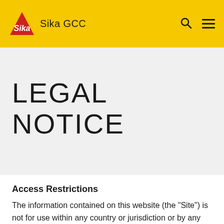Sika GCC
LEGAL NOTICE
Access Restrictions
The information contained on this website (the "Site") is not for use within any country or jurisdiction or by any